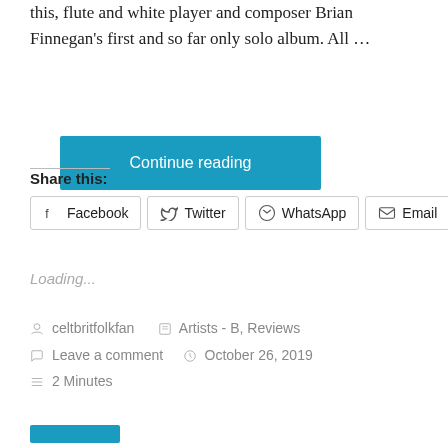this, flute and white player and composer Brian Finnegan's first and so far only solo album. All …
Continue reading
Share this:
Facebook  Twitter  WhatsApp  Email
Loading...
celtbritfolkfan   Artists - B, Reviews   Leave a comment   October 26, 2019   2 Minutes